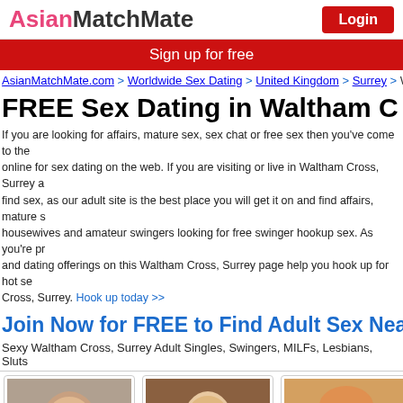AsianMatchMate | Login
Sign up for free
AsianMatchMate.com > Worldwide Sex Dating > United Kingdom > Surrey > Wa
FREE Sex Dating in Waltham C
If you are looking for affairs, mature sex, sex chat or free sex then you've come to the online for sex dating on the web. If you are visiting or live in Waltham Cross, Surrey a find sex, as our adult site is the best place you will get it on and find affairs, mature s housewives and amateur swingers looking for free swinger hookup sex. As you're pr and dating offerings on this Waltham Cross, Surrey page help you hook up for hot se Cross, Surrey. Hook up today >>
Join Now for FREE to Find Adult Sex Near Wa
Sexy Waltham Cross, Surrey Adult Singles, Swingers, MILFs, Lesbians, Sluts
[Figure (photo): Profile photo of user crazifuker]
[Figure (photo): Profile photo of user looking4adultfn2]
[Figure (photo): Profile photo of user Sexual Lady27]